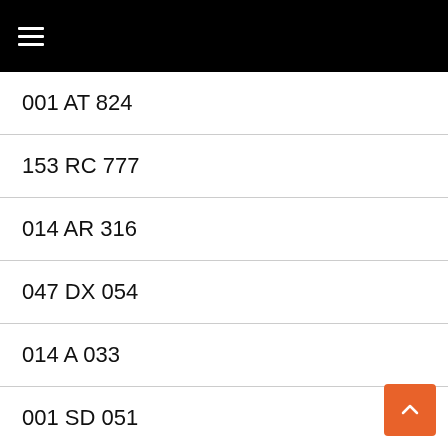≡ (hamburger menu)
001 AT 824
153 RC 777
014 AR 316
047 DX 054
014 A 033
001 SD 051
153 Echo 200
014 RC 066